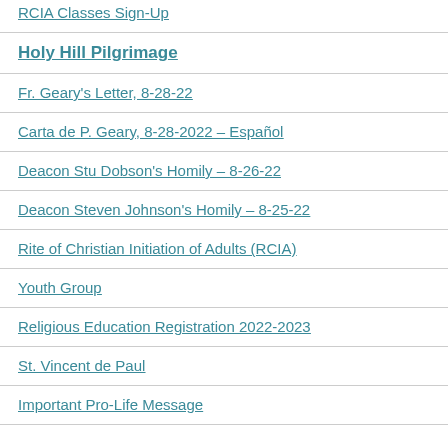RCIA Classes Sign-Up
Holy Hill Pilgrimage
Fr. Geary's Letter, 8-28-22
Carta de P. Geary, 8-28-2022 – Español
Deacon Stu Dobson's Homily – 8-26-22
Deacon Steven Johnson's Homily – 8-25-22
Rite of Christian Initiation of Adults (RCIA)
Youth Group
Religious Education Registration 2022-2023
St. Vincent de Paul
Important Pro-Life Message